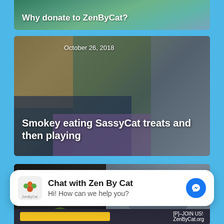[Figure (screenshot): Partial top card showing 'Why donate to ZenByCat?' text on dark green/teal background]
Why donate to ZenByCat?
[Figure (photo): Photo of a tabby cat being held/lying on person's lap, with cat treats bag visible. Date: October 26, 2018. Title: Smokey eating SassyCat treats and then playing]
October 26, 2018
Smokey eating SassyCat treats and then playing
[Figure (photo): Two cat photos side by side: close-up of dark cat face with green eye on left, and grey cat face on right. Date: October 25, 2018]
October 25, 2018
Chat with Zen By Cat
Hi! How can we help you?
[P]-JOIN US! ZenByCat.org